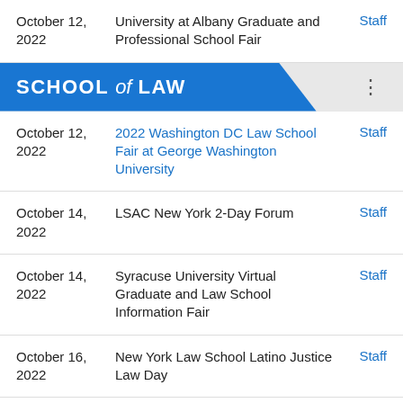| Date | Event | Audience |
| --- | --- | --- |
| October 12, 2022 | University at Albany Graduate and Professional School Fair | Staff |
SCHOOL of LAW
| Date | Event | Audience |
| --- | --- | --- |
| October 12, 2022 | 2022 Washington DC Law School Fair at George Washington University | Staff |
| October 14, 2022 | LSAC New York 2-Day Forum | Staff |
| October 14, 2022 | Syracuse University Virtual Graduate and Law School Information Fair | Staff |
| October 16, 2022 | New York Law School Latino Justice Law Day | Staff |